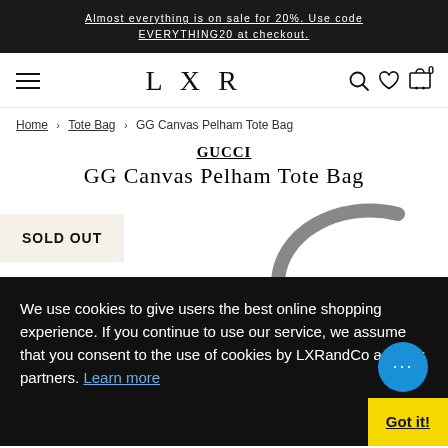Almost everything is on sale for 20%. Use code EVERYTHING20 at checkout.
[Figure (screenshot): LXR navigation bar with hamburger menu, LXR logo, search, heart/wishlist, and cart icon with 0 items]
Home › Tote Bag › GG Canvas Pelham Tote Bag
GUCCI
GG Canvas Pelham Tote Bag
SOLD OUT
We use cookies to give users the best online shopping experience. If you continue to use our service, we assume that you consent to the use of cookies by LXRandCo and our partners. Learn more
Got it!